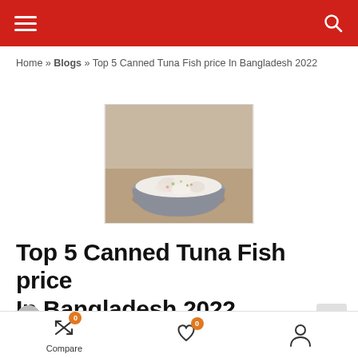Navigation header with hamburger menu and search icon
Home » Blogs » Top 5 Canned Tuna Fish price In Bangladesh 2022
[Figure (photo): A bowl of canned tuna fish salad on a wooden surface]
Top 5 Canned Tuna Fish price In Bangladesh 2022
Eshraque Tahoshin Oyeshi · October 20, 2021 · Blogs
Compare · (heart icon) · (user icon) bottom navigation bar